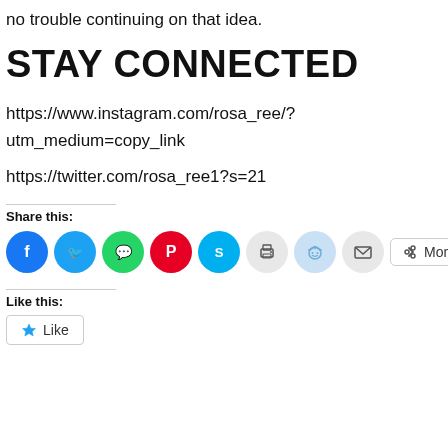no trouble continuing on that idea.
STAY CONNECTED
https://www.instagram.com/rosa_ree/?utm_medium=copy_link
https://twitter.com/rosa_ree1?s=21
Share this:
[Figure (infographic): Row of social share icon buttons: Facebook (blue), Twitter (blue), WhatsApp (green), Pinterest (red), Skype (blue), Print (gray), Reddit (light blue), Email (gray), and a More button with share icon.]
Like this:
[Figure (infographic): A Like button with a blue star icon and the text Like.]